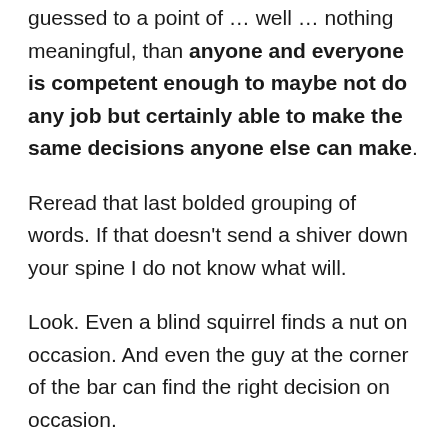guessed to a point of … well … nothing meaningful, than anyone and everyone is competent enough to maybe not do any job but certainly able to make the same decisions anyone else can make.
Reread that last bolded grouping of words. If that doesn't send a shiver down your spine I do not know what will.
Look. Even a blind squirrel finds a nut on occasion. And even the guy at the corner of the bar can find the right decision on occasion.